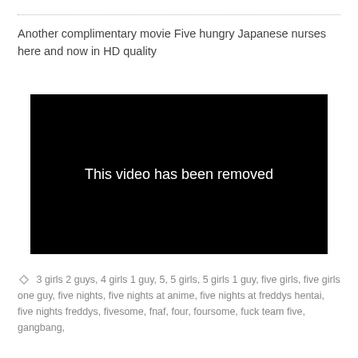Another complimentary movie Five hungry Japanese nurses here and now in HD quality
[Figure (screenshot): Black video player placeholder with white text reading 'This video has been removed']
3 girls 2 guys, 4 girls 1 guy, 5, 5 girls, 5 girls 1 guy, five girls, five girls one guy, five nights, five nights at anime, five nights at freddys hentai, five nights freddys, fivesome, fnaf, four, foursome, fuck team five, gangbang,